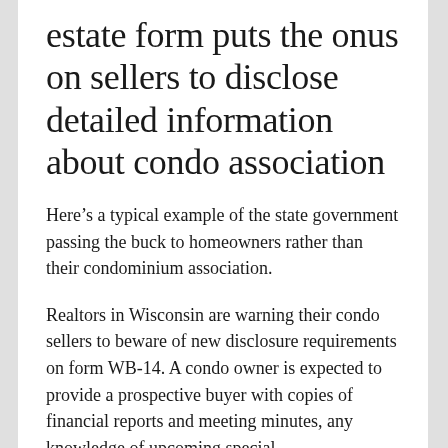estate form puts the onus on sellers to disclose detailed information about condo association
Here's a typical example of the state government passing the buck to homeowners rather than their condominium association.
Realtors in Wisconsin are warning their condo sellers to beware of new disclosure requirements on form WB-14. A condo owner is expected to provide a prospective buyer with copies of financial reports and meeting minutes, any knowledge of upcoming special